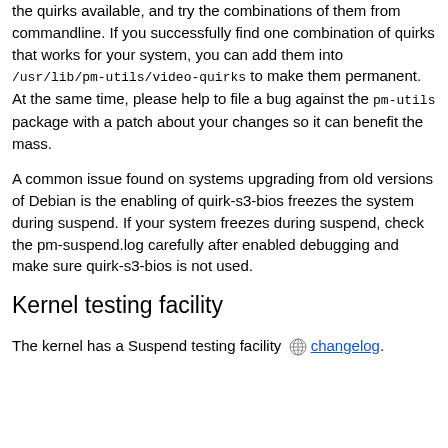the quirks available, and try the combinations of them from commandline. If you successfully find one combination of quirks that works for your system, you can add them into /usr/lib/pm-utils/video-quirks to make them permanent. At the same time, please help to file a bug against the pm-utils package with a patch about your changes so it can benefit the mass.
A common issue found on systems upgrading from old versions of Debian is the enabling of quirk-s3-bios freezes the system during suspend. If your system freezes during suspend, check the pm-suspend.log carefully after enabled debugging and make sure quirk-s3-bios is not used.
Kernel testing facility
The kernel has a Suspend testing facility [globe icon] changelog.